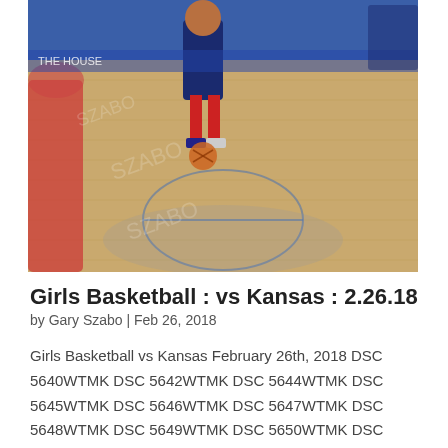[Figure (photo): Basketball court photo showing players dribbling on a hardwood court with blue bleachers/seating in background. Court has reflective wood floor with painted markings. Players visible in red and navy uniforms.]
Girls Basketball : vs Kansas : 2.26.18
by Gary Szabo | Feb 26, 2018
Girls Basketball vs Kansas February 26th, 2018 DSC 5640WTMK DSC 5642WTMK DSC 5644WTMK DSC 5645WTMK DSC 5646WTMK DSC 5647WTMK DSC 5648WTMK DSC 5649WTMK DSC 5650WTMK DSC